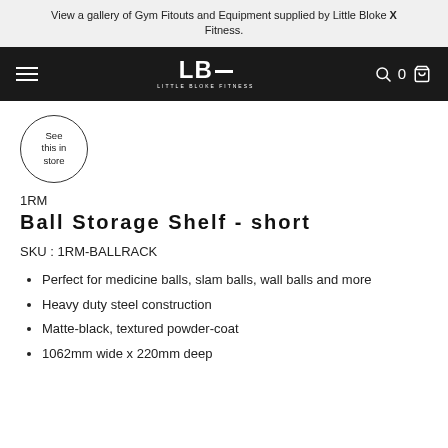View a gallery of Gym Fitouts and Equipment supplied by Little Bloke X Fitness.
[Figure (logo): Little Bloke Fitness (LBF) logo on black navigation bar with hamburger menu, search icon, cart count 0, and cart icon]
[Figure (illustration): Circular badge with text 'See this in store']
1RM
Ball Storage Shelf - short
SKU : 1RM-BALLRACK
Perfect for medicine balls, slam balls, wall balls and more
Heavy duty steel construction
Matte-black, textured powder-coat
1062mm wide x 220mm deep